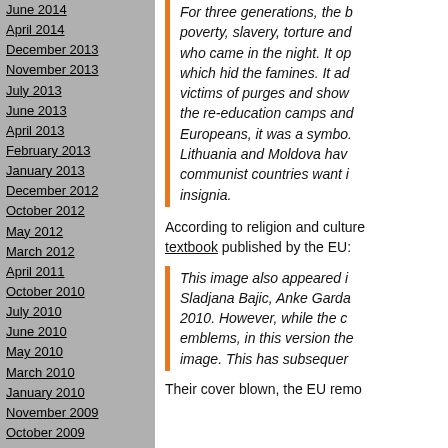June 2014
April 2014
December 2013
November 2013
July 2013
June 2013
April 2013
February 2013
January 2013
December 2012
October 2012
May 2012
March 2012
April 2011
October 2010
July 2010
June 2010
May 2010
March 2010
January 2010
November 2009
October 2009
August 2009
April 2009
March 2009
November 2008
For three generations, the b... poverty, slavery, torture and... who came in the night. It op... which hid the famines. It ad... victims of purges and show... the re-education camps and... Europeans, it was a symbo... Lithuania and Moldova hav... communist countries want i... insignia.
According to religion and culture... textbook published by the EU:
This image also appeared i... Sladjana Bajic, Anke Garda... 2010. However, while the c... emblems, in this version the... image. This has subsequer...
Their cover blown, the EU remo...